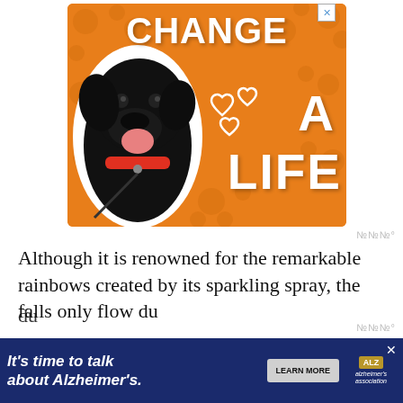[Figure (illustration): Orange advertisement banner with a black Labrador dog, text reading CHANGE A LIFE with heart icons, orange background with paw print pattern. Has an X close button in top right corner.]
Although it is renowned for the remarkable rainbows created by its sparkling spray, the falls only flow du... be...
[Figure (illustration): Bottom advertisement banner with dark navy background. Text: It's time to talk about Alzheimer's. With a LEARN MORE button and Alzheimer's Association logo.]